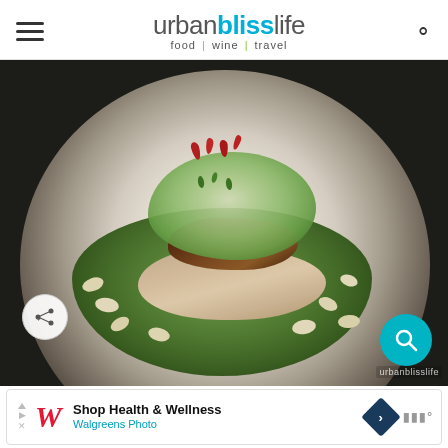urbanblisslife — food | wine | travel
[Figure (photo): Close-up food photography of a plated fish dish on a white plate: a white fish fillet with crispy seasoned skin, served on a bed of green pea and fava bean mash, topped with a light green foam sauce and garnished with red and green microgreens. White beans scattered around the dish.]
urbanblisslife
Shop Health & Wellness
Walgreens Photo